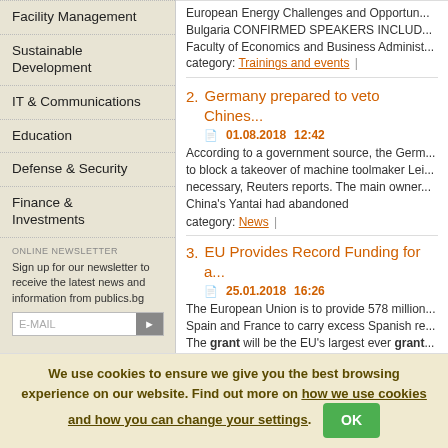Facility Management
Sustainable Development
IT & Communications
Education
Defense & Security
Finance & Investments
ONLINE NEWSLETTER
Sign up for our newsletter to receive the latest news and information from publics.bg
European Energy Challenges and Opportunities - Bulgaria CONFIRMED SPEAKERS INCLUDE: Faculty of Economics and Business Administ... category: Trainings and events
2. Germany prepared to veto Chines...
01.08.2018   12:42
According to a government source, the Germ... to block a takeover of machine toolmaker Lei... necessary, Reuters reports. The main owner... China's Yantai had abandoned
category: News
3. EU Provides Record Funding for a...
25.01.2018   16:26
The European Union is to provide 578 million... Spain and France to carry excess Spanish re... The grant will be the EU's largest ever grant... of the 370-kilometre
We use cookies to ensure we give you the best browsing experience on our website. Find out more on how we use cookies and how you can change your settings.